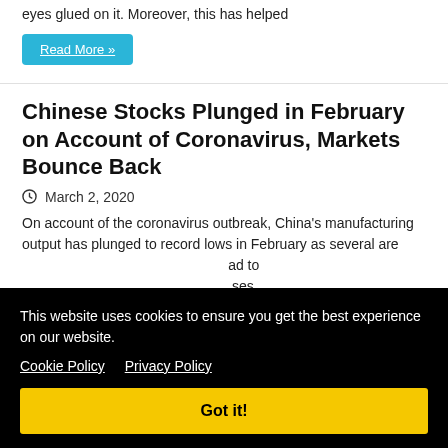eyes glued on it. Moreover, this has helped
Read More »
Chinese Stocks Plunged in February on Account of Coronavirus, Markets Bounce Back
March 2, 2020
On account of the coronavirus outbreak, China's manufacturing output has plunged to record lows in February as several
This website uses cookies to ensure you get the best experience on our website.
Cookie Policy   Privacy Policy
Got it!
The Markit/Caixin manufacturing Purchasing Managers' Index